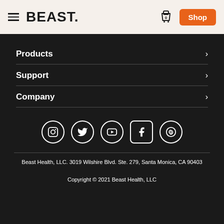BEAST. — navigation header with hamburger menu, cart icon (0), and Shop button
Products
Support
Company
[Figure (infographic): Row of 5 social media icons: Instagram, Twitter, YouTube, Facebook, Pinterest]
Beast Health, LLC. 3019 Wilshire Blvd. Ste. 279, Santa Monica, CA 90403
Copyright © 2021 Beast Health, LLC